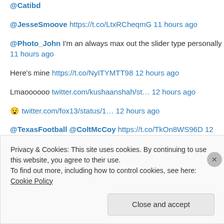@Catibd
@JesseSmoove https://t.co/LtxRCheqmG 11 hours ago
@Photo_John I'm an always max out the slider type personally 11 hours ago
Here's mine https://t.co/NyITYMTT98 12 hours ago
Lmaoooooo twitter.com/kushaanshah/st… 12 hours ago
😧 twitter.com/fox13/status/1… 12 hours ago
@TexasFootball @ColtMcCoy https://t.co/TkOn8WS96D 12 hours ago
@McConaughey @UTAustin @TexasLonghorns
Privacy & Cookies: This site uses cookies. By continuing to use this website, you agree to their use. To find out more, including how to control cookies, see here: Cookie Policy
Close and accept